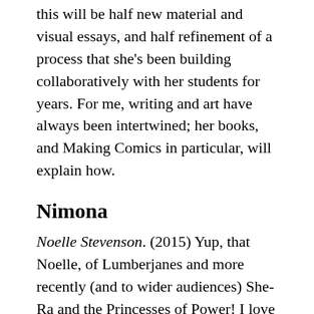this will be half new material and visual essays, and half refinement of a process that she's been building collaboratively with her students for years. For me, writing and art have always been intertwined; her books, and Making Comics in particular, will explain how.
Nimona
Noelle Stevenson. (2015) Yup, that Noelle, of Lumberjanes and more recently (and to wider audiences) She-Ra and the Princesses of Power! I love her stuff, her style, and Nimona was one of those things I had meant to get to and then finally did. I wish there was more